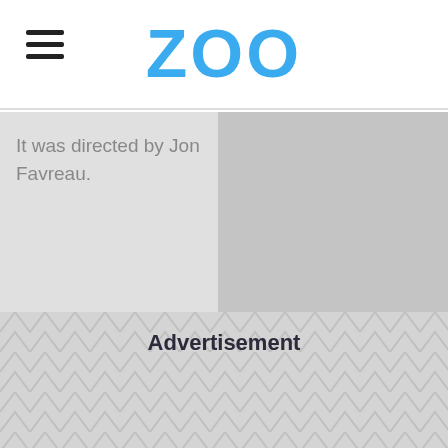ZOO
It was directed by Jon Favreau.
Advertisement